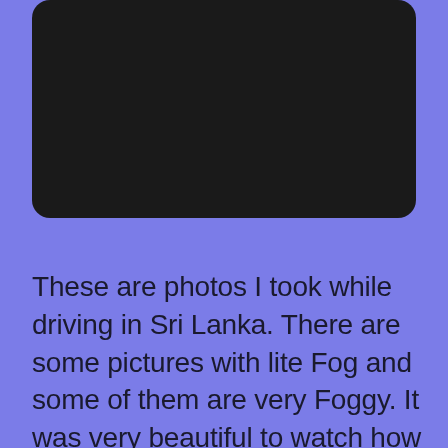[Figure (photo): A dark/black rectangular photo with rounded corners, likely a nighttime or very dark scene taken while driving in Sri Lanka.]
These are photos I took while driving in Sri Lanka. There are some pictures with lite Fog and some of them are very Foggy. It was very beautiful to watch how Fog comes and spreads over the whole area. I decided to put them as a slide show instead of